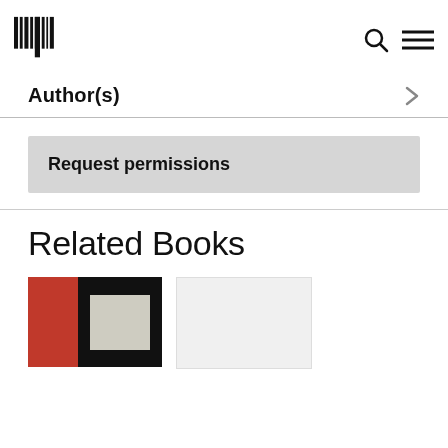MIT Press logo, search icon, menu icon
Author(s)
Request permissions
Related Books
[Figure (photo): Book cover thumbnail on the left, partially visible book cover on the right]